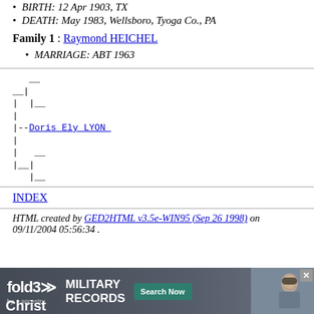BIRTH: 12 Apr 1903, TX
DEATH: May 1983, Wellsboro, Tyoga Co., PA
Family 1 : Raymond HEICHEL
MARRIAGE: ABT 1963
[Figure (other): Pedigree tree diagram showing ancestry lines for Doris Ely LYON with bracket notation using monospace characters]
INDEX
HTML created by GED2HTML v3.5e-WIN95 (Sep 26 1998) on 09/11/2004 05:56:34 .
[Figure (infographic): Fold3 by Ancestry advertisement banner for Military Records with Search Now button and soldier photo]